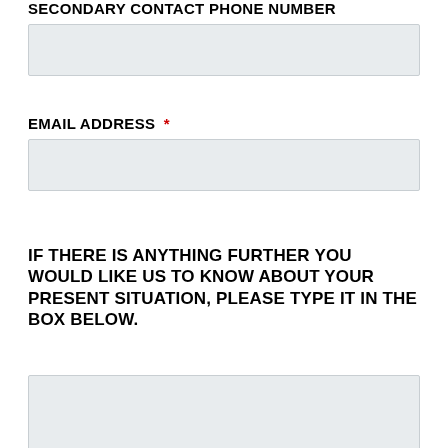SECONDARY CONTACT PHONE NUMBER
EMAIL ADDRESS *
IF THERE IS ANYTHING FURTHER YOU WOULD LIKE US TO KNOW ABOUT YOUR PRESENT SITUATION, PLEASE TYPE IT IN THE BOX BELOW.